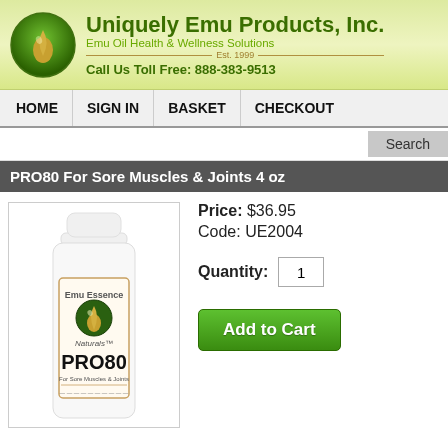[Figure (logo): Uniquely Emu Products Inc. logo: green circle with gold droplet, company name, tagline, and toll-free number]
Uniquely Emu Products, Inc. | Emu Oil Health & Wellness Solutions | Est. 1999 | Call Us Toll Free: 888-383-9513
HOME | SIGN IN | BASKET | CHECKOUT
Search
PRO80 For Sore Muscles & Joints 4 oz
[Figure (photo): White bottle of Emu Essence Naturals PRO80 For Sore Muscles & Joints product]
Price: $36.95
Code: UE2004
Quantity: 1
Add to Cart